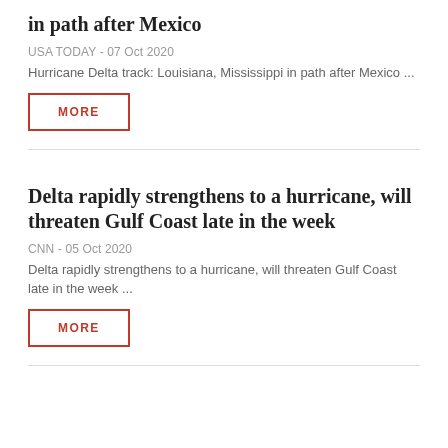in path after Mexico
USA TODAY - 07 Oct 2020
Hurricane Delta track: Louisiana, Mississippi in path after Mexico  ...
MORE
Delta rapidly strengthens to a hurricane, will threaten Gulf Coast late in the week
CNN - 05 Oct 2020
Delta rapidly strengthens to a hurricane, will threaten Gulf Coast late in the week  ...
MORE